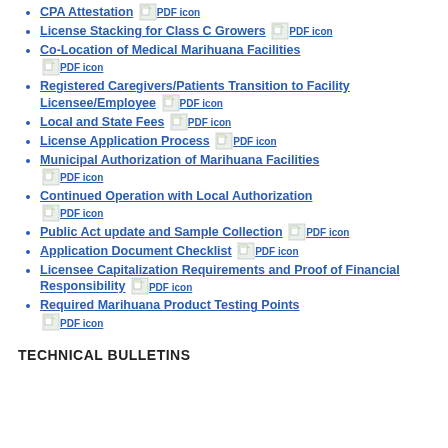CPA Attestation [PDF icon]
License Stacking for Class C Growers [PDF icon]
Co-Location of Medical Marihuana Facilities [PDF icon]
Registered Caregivers/Patients Transition to Facility Licensee/Employee [PDF icon]
Local and State Fees [PDF icon]
License Application Process [PDF icon]
Municipal Authorization of Marihuana Facilities [PDF icon]
Continued Operation with Local Authorization [PDF icon]
Public Act update and Sample Collection [PDF icon]
Application Document Checklist [PDF icon]
Licensee Capitalization Requirements and Proof of Financial Responsibility [PDF icon]
Required Marihuana Product Testing Points [PDF icon]
TECHNICAL BULLETINS